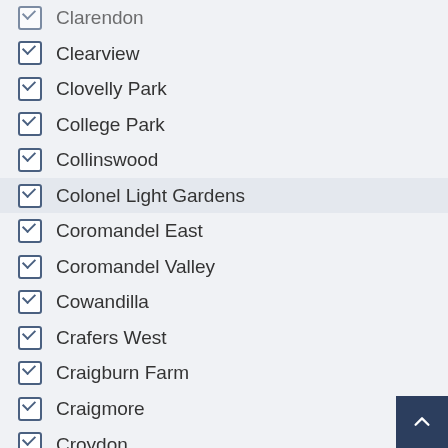Clarendon
Clearview
Clovelly Park
College Park
Collinswood
Colonel Light Gardens
Coromandel East
Coromandel Valley
Cowandilla
Crafers West
Craigburn Farm
Craigmore
Croydon
Croydon Park
Cumberland Park
Darlington
Davoren Park
Daw Park